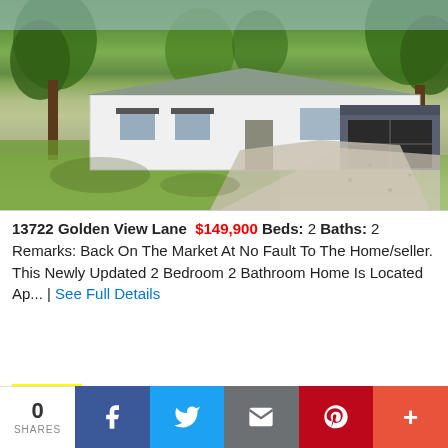[Figure (photo): Exterior photo of a single-story white ranch home with a gravel driveway, large trees, green lawn, and a detached dark garage/outbuilding to the right.]
13722 Golden View Lane  $149,900 Beds: 2 Baths: 2 Remarks: Back On The Market At No Fault To The Home/seller. This Newly Updated 2 Bedroom 2 Bathroom Home Is Located Ap... | See Full Details
Request: Virtual Showing MARIS MLS
0 SHARES